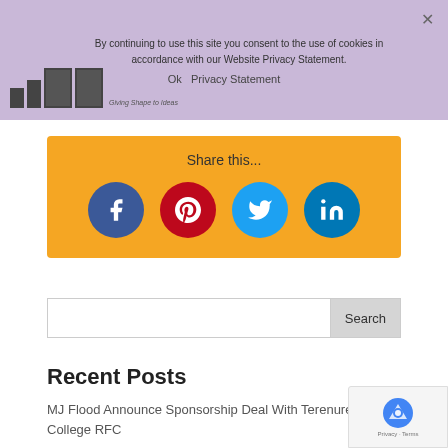By continuing to use this site you consent to the use of cookies in accordance with our Website Privacy Statement.
Ok   Privacy Statement
[Figure (screenshot): Social media share widget with orange background showing Facebook, Pinterest, Twitter, and LinkedIn icon buttons]
Share this...
Search
Recent Posts
MJ Flood Announce Sponsorship Deal With Terenure College RFC